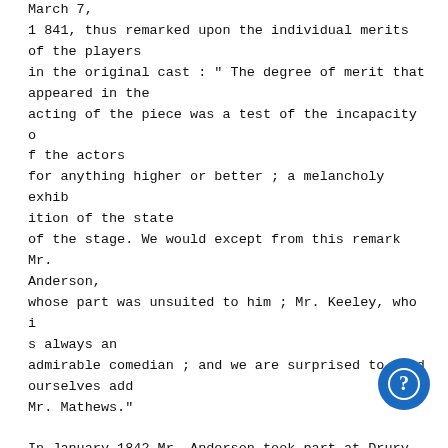March 7,
1 841, thus remarked upon the individual merits of the players
in the original cast : " The degree of merit that appeared in the
acting of the piece was a test of the incapacity of the actors
for anything higher or better ; a melancholy exhibition of the state
of the stage. We would except from this remark Mr. Anderson,
whose part was unsuited to him ; Mr. Keeley, who is always an
admirable comedian ; and we are surprised to find ourselves add
Mr. Mathews."

In January 1842 Mr. Anderson took part at Drury Lane Theatre
in the opening performance which inaugurated Mr. Macready's
management, sustaining the part of Bassanio ('Merchant of Venice').
During the month of February 1842 his name appeared in the